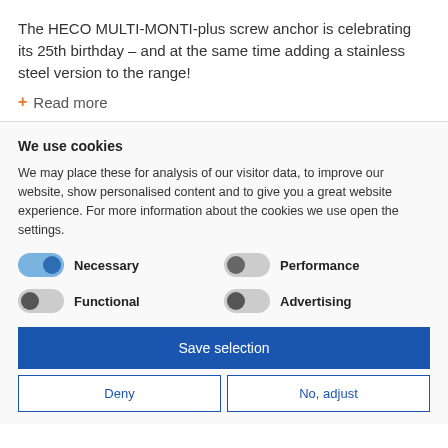The HECO MULTI-MONTI-plus screw anchor is celebrating its 25th birthday – and at the same time adding a stainless steel version to the range!
+ Read more
We use cookies
We may place these for analysis of our visitor data, to improve our website, show personalised content and to give you a great website experience. For more information about the cookies we use open the settings.
Necessary
Performance
Functional
Advertising
Save selection
Deny
No, adjust